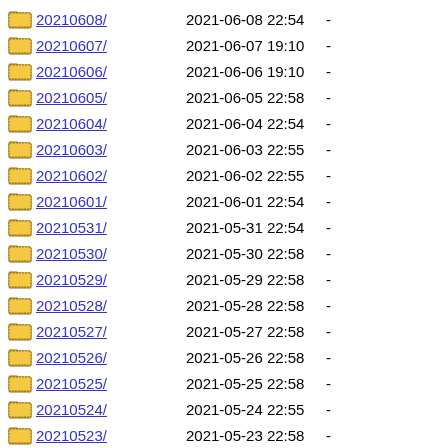20210608/ 2021-06-08 22:54 -
20210607/ 2021-06-07 19:10 -
20210606/ 2021-06-06 19:10 -
20210605/ 2021-06-05 22:58 -
20210604/ 2021-06-04 22:54 -
20210603/ 2021-06-03 22:55 -
20210602/ 2021-06-02 22:55 -
20210601/ 2021-06-01 22:54 -
20210531/ 2021-05-31 22:54 -
20210530/ 2021-05-30 22:58 -
20210529/ 2021-05-29 22:58 -
20210528/ 2021-05-28 22:58 -
20210527/ 2021-05-27 22:58 -
20210526/ 2021-05-26 22:58 -
20210525/ 2021-05-25 22:58 -
20210524/ 2021-05-24 22:55 -
20210523/ 2021-05-23 22:58 -
20210522/ 2021-05-22 22:55 -